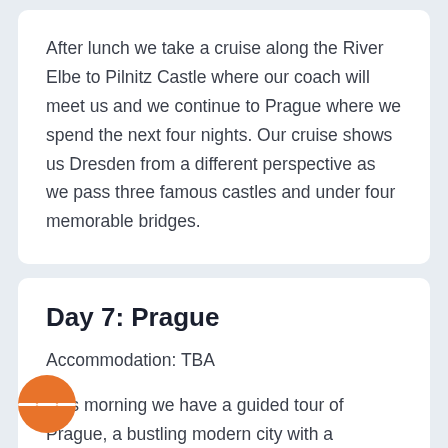After lunch we take a cruise along the River Elbe to Pilnitz Castle where our coach will meet us and we continue to Prague where we spend the next four nights. Our cruise shows us Dresden from a different perspective as we pass three famous castles and under four memorable bridges.
Day 7: Prague
Accommodation: TBA
This morning we have a guided tour of Prague, a bustling modern city with a medieval past. Founded sometime around 870AD, Prague has withstood numerous invasions, fires and floods. Today it is full